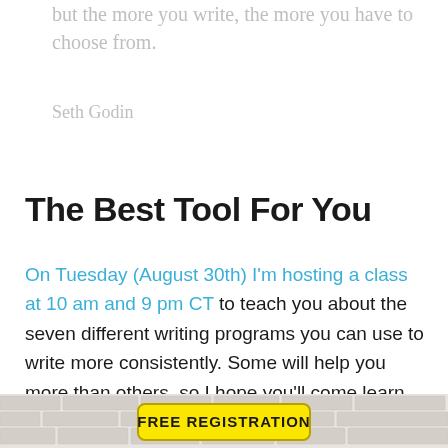but the more you write, the more you have to choose from.
Seth Godin
The Best Tool For You
On Tuesday (August 30th) I'm hosting a class at 10 am and 9 pm CT to teach you about the seven different writing programs you can use to write more consistently. Some will help you more than others, so I hope you'll come learn about them.
[Figure (other): Yellow FREE REGISTRATION button on a brick wall background]